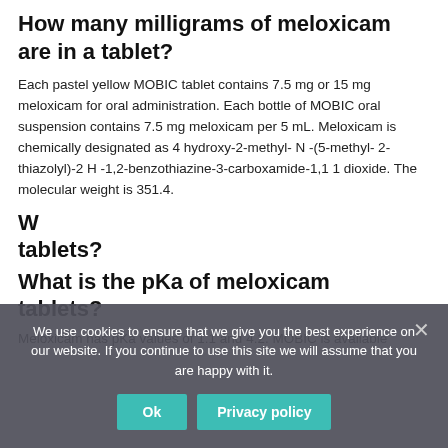How many milligrams of meloxicam are in a tablet?
Each pastel yellow MOBIC tablet contains 7.5 mg or 15 mg meloxicam for oral administration. Each bottle of MOBIC oral suspension contains 7.5 mg meloxicam per 5 mL. Meloxicam is chemically designated as 4 hydroxy-2-methyl- N -(5-methyl-2-thiazolyl)-2 H -1,2-benzothiazine-3-carboxamide-1,1 1 dioxide. The molecular weight is 351.4.
What is the pKa of meloxicam tablets?
Meloxicam has pKa values of 1.1 and 4.2. MOBIC is available